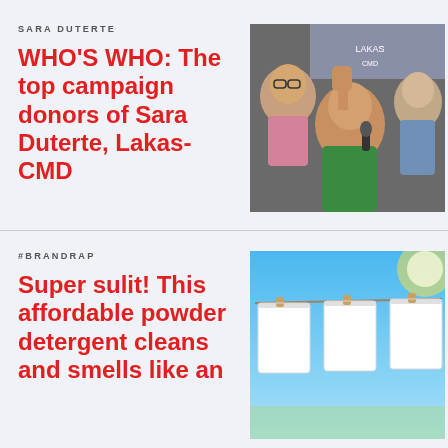SARA DUTERTE
WHO'S WHO: The top campaign donors of Sara Duterte, Lakas-CMD
[Figure (photo): Sara Duterte with fist raised speaking into a microphone, flanked by two men, at a Lakas-CMD event]
#BRANDRAP
Super sulit! This affordable powder detergent cleans and smells like an
[Figure (photo): White t-shirts hanging on a clothesline against a bright blue sky]